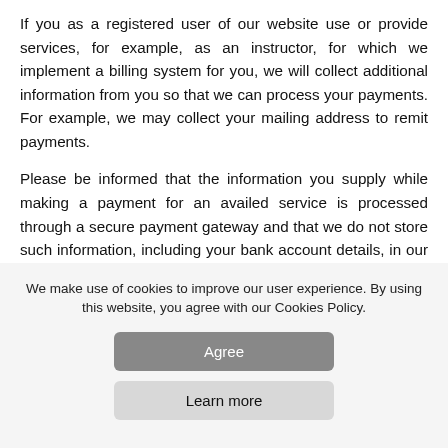If you as a registered user of our website use or provide services, for example, as an instructor, for which we implement a billing system for you, we will collect additional information from you so that we can process your payments. For example, we may collect your mailing address to remit payments.
Please be informed that the information you supply while making a payment for an availed service is processed through a secure payment gateway and that we do not store such information, including your bank account details, in our server.
We make use of cookies to improve our user experience. By using this website, you agree with our Cookies Policy.